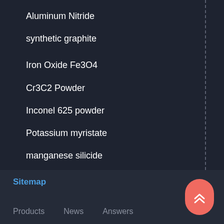Aluminum Nitride
synthetic graphite
Iron Oxide Fe3O4
Cr3C2 Powder
Inconel 625 powder
Potassium myristate
manganese silicide
boron carbide B4C powder
316 stainless steel
Sitemap  Products  News  Answers